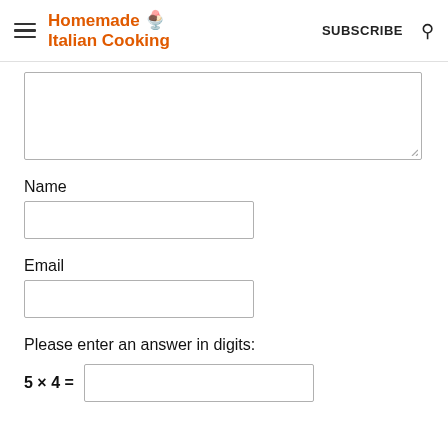Homemade Italian Cooking  SUBSCRIBE
Name
Email
Please enter an answer in digits: